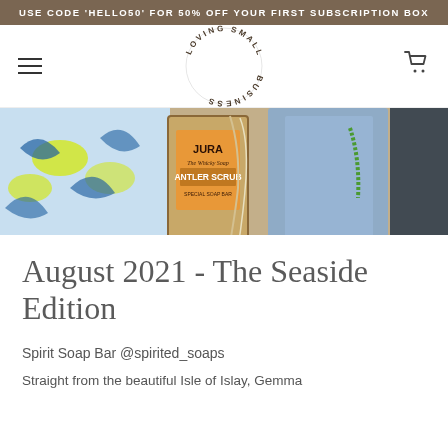USE CODE 'HELLO50' FOR 50% OFF YOUR FIRST SUBSCRIPTION BOX
[Figure (logo): Circular logo reading LOVING SMALL BUSINESS arranged in a circle]
[Figure (photo): A subscription box containing a Jura Whisky Soap Antler Scrub bar, colorful fabrics and packaging materials]
August 2021 - The Seaside Edition
Spirit Soap Bar @spirited_soaps
Straight from the beautiful Isle of Islay, Gemma